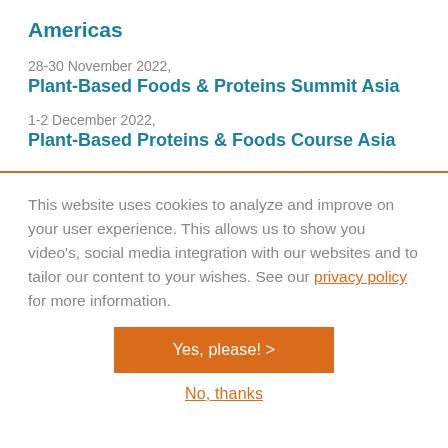Americas
28-30 November 2022,
Plant-Based Foods & Proteins Summit Asia
1-2 December 2022,
Plant-Based Proteins & Foods Course Asia
This website uses cookies to analyze and improve on your user experience. This allows us to show you video's, social media integration with our websites and to tailor our content to your wishes. See our privacy policy for more information.
Yes, please! >
No, thanks